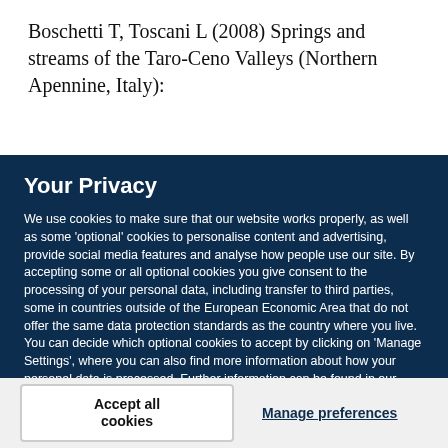Boschetti T, Toscani L (2008) Springs and streams of the Taro-Ceno Valleys (Northern Apennine, Italy):
Your Privacy
We use cookies to make sure that our website works properly, as well as some 'optional' cookies to personalise content and advertising, provide social media features and analyse how people use our site. By accepting some or all optional cookies you give consent to the processing of your personal data, including transfer to third parties, some in countries outside of the European Economic Area that do not offer the same data protection standards as the country where you live. You can decide which optional cookies to accept by clicking on 'Manage Settings', where you can also find more information about how your personal data is processed. Further information can be found in our privacy policy.
Accept all cookies
Manage preferences